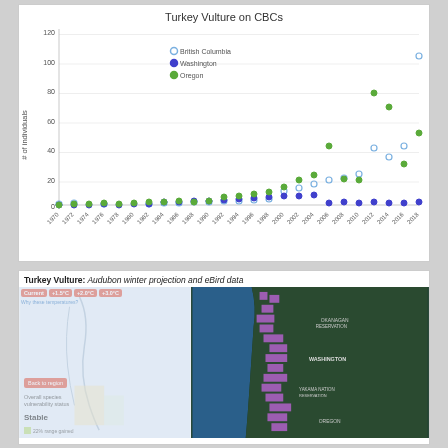[Figure (scatter-plot): Scatter plot showing Turkey Vulture counts on Christmas Bird Counts from 1970 to 2018 for British Columbia, Washington, and Oregon. Oregon and British Columbia show marked increases especially after 2005.]
[Figure (map): Two-panel screenshot: left panel shows Audubon winter projection map for Turkey Vulture with climate scenario buttons (Current, +1.5C, +2.0C, +3.0C), vulnerability status Stable, and 22% range gained legend. Right panel shows eBird sightings map with purple highlighted grid cells across Washington and Oregon coast region.]
Turkey Vulture: Audubon winter projection and eBird data